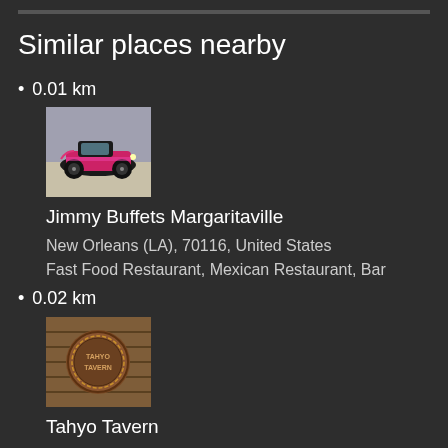Similar places nearby
0.01 km
[Figure (photo): Photo of a pink and black vintage hot rod car parked outdoors]
Jimmy Buffets Margaritaville
New Orleans (LA), 70116, United States
Fast Food Restaurant, Mexican Restaurant, Bar
0.02 km
[Figure (photo): Photo of a round brown ceramic or wooden decorative item with text 'TAHYO TAVERN']
Tahyo Tavern